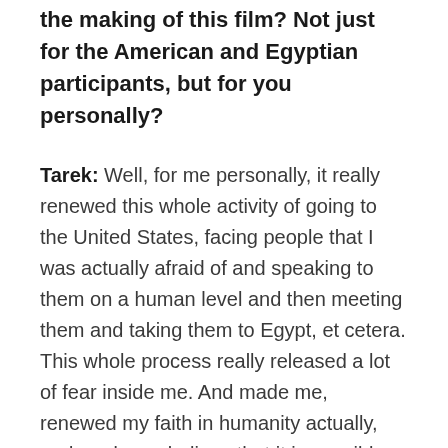the making of this film? Not just for the American and Egyptian participants, but for you personally?
Tarek: Well, for me personally, it really renewed this whole activity of going to the United States, facing people that I was actually afraid of and speaking to them on a human level and then meeting them and taking them to Egypt, et cetera. This whole process really released a lot of fear inside me. And made me, renewed my faith in humanity actually, and made me believe that it is possible for people with radically